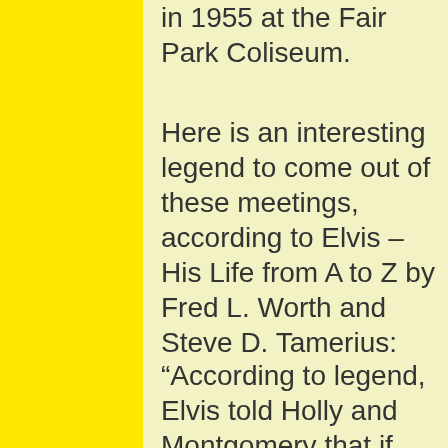in 1955 at the Fair Park Coliseum.
Here is an interesting legend to come out of these meetings, according to Elvis – His Life from A to Z by Fred L. Worth and Steve D. Tamerius:
“According to legend, Elvis told Holly and Montgomery that if they came down to the ‘Louisiana Hayride,’ he’d get them on the show, but when they did show up, Horace Logan [ed. note: